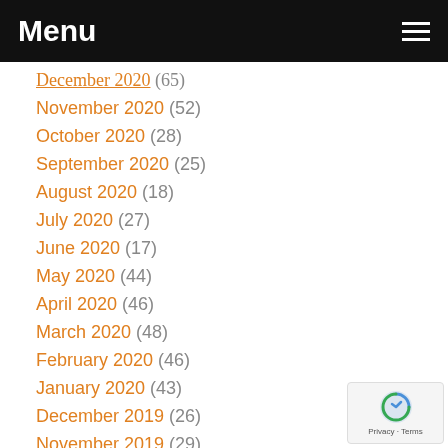Menu
December 2020 (65)
November 2020 (52)
October 2020 (28)
September 2020 (25)
August 2020 (18)
July 2020 (27)
June 2020 (17)
May 2020 (44)
April 2020 (46)
March 2020 (48)
February 2020 (46)
January 2020 (43)
December 2019 (26)
November 2019 (29)
October 2019 (23)
September 2019 (55)
August 2019 (22)
July 2019 (19)
June 2019 (20)